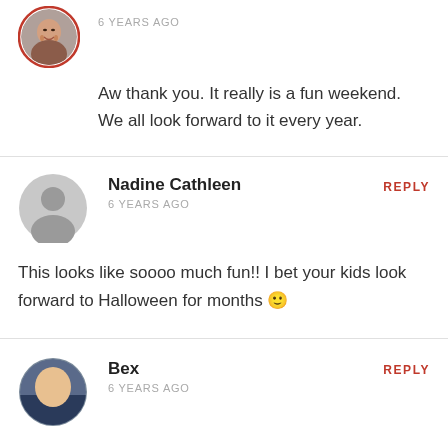[Figure (photo): Circular avatar photo of a woman with dark hair and earrings, with a red border]
6 YEARS AGO
Aw thank you. It really is a fun weekend. We all look forward to it every year.
[Figure (photo): Gray circular default avatar silhouette icon]
Nadine Cathleen
REPLY
6 YEARS AGO
This looks like soooo much fun!! I bet your kids look forward to Halloween for months 🙂
[Figure (photo): Circular avatar photo of a person, partially visible at bottom]
Bex
REPLY
6 YEARS AGO